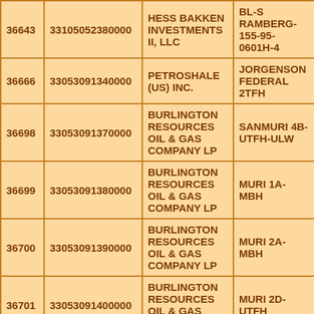| 36643 | 33105052380000 | HESS BAKKEN INVESTMENTS II, LLC | BL-S RAMBERG-155-95-0601H-4 |
| 36666 | 33053091340000 | PETROSHALE (US) INC. | JORGENSON FEDERAL 2TFH |
| 36698 | 33053091370000 | BURLINGTON RESOURCES OIL & GAS COMPANY LP | SANMURI 4B-UTFH-ULW |
| 36699 | 33053091380000 | BURLINGTON RESOURCES OIL & GAS COMPANY LP | MURI 1A-MBH |
| 36700 | 33053091390000 | BURLINGTON RESOURCES OIL & GAS COMPANY LP | MURI 2A-MBH |
| 36701 | 33053091400000 | BURLINGTON RESOURCES OIL & GAS COMPANY LP | MURI 2D-UTFH |
|  |  | BURLINGTON |  |